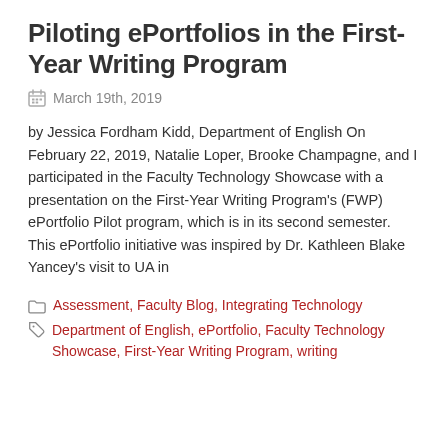Piloting ePortfolios in the First-Year Writing Program
March 19th, 2019
by Jessica Fordham Kidd, Department of English On February 22, 2019, Natalie Loper, Brooke Champagne, and I participated in the Faculty Technology Showcase with a presentation on the First-Year Writing Program's (FWP) ePortfolio Pilot program, which is in its second semester. This ePortfolio initiative was inspired by Dr. Kathleen Blake Yancey's visit to UA in
Assessment, Faculty Blog, Integrating Technology
Department of English, ePortfolio, Faculty Technology Showcase, First-Year Writing Program, writing